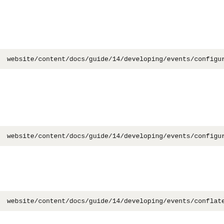website/content/docs/guide/14/developing/events/configuring_
website/content/docs/guide/14/developing/events/configuring_
website/content/docs/guide/14/developing/events/conflate_mu
website/content/docs/guide/14/developing/events/conflate_se
website/content/docs/guide/14/developing/events/event_handle
website/content/docs/guide/14/developing/events/filtering_mu